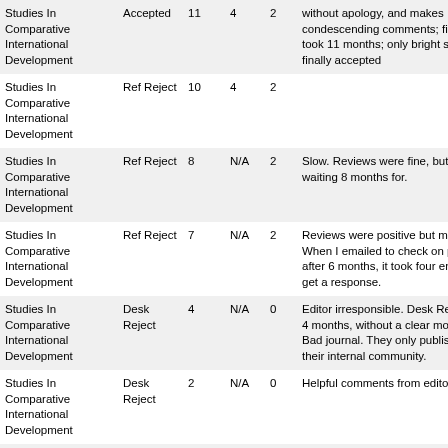| Journal | Decision | Months | Reviewers | Rating | Comments |
| --- | --- | --- | --- | --- | --- |
| Studies In Comparative International Development | Accepted | 11 | 4 | 2 | without apology, and makes condescending comments; first review took 11 months; only bright side is they finally accepted |
| Studies In Comparative International Development | Ref Reject | 10 | 4 | 2 |  |
| Studies In Comparative International Development | Ref Reject | 8 | N/A | 2 | Slow. Reviews were fine, but not worth waiting 8 months for. |
| Studies In Comparative International Development | Ref Reject | 7 | N/A | 2 | Reviews were positive but mixed. When I emailed to check on progress after 6 months, it took four emails to get a response. |
| Studies In Comparative International Development | Desk Reject | 4 | N/A | 0 | Editor irresponsible. Desk Reject after 4 months, without a clear motivation. Bad journal. They only publish article of their internal community. |
| Studies In Comparative International Development | Desk Reject | 2 | N/A | 0 | Helpful comments from editor |
| Studies In Comparative International Development | Desk Reject | 3 | N/A | 0 | Desk reject after 3 months. |